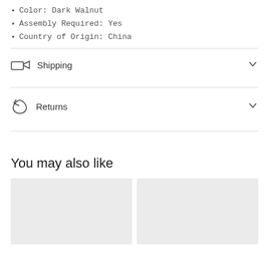Color: Dark Walnut
Assembly Required: Yes
Country of Origin: China
Shipping
Returns
You may also like
[Figure (photo): Two empty product image placeholders (light gray boxes)]